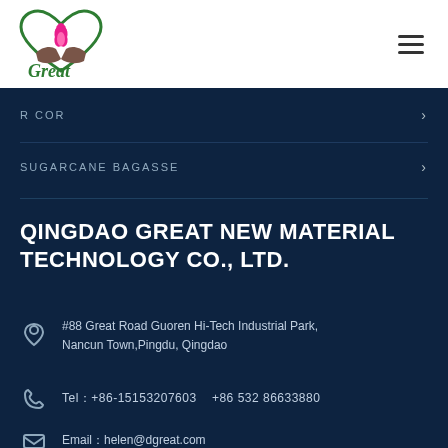[Figure (logo): Great company logo with green heart outline, lotus flower, and hands below, with 'Great' in green italic script]
R COR
SUGARCANE BAGASSE
QINGDAO GREAT NEW MATERIAL TECHNOLOGY CO., LTD.
#88 Great Road Guoren Hi-Tech Industrial Park, Nancun Town,Pingdu, Qingdao
Tel：+86-15153207603    +86 532 86633880
Email：helen@dgreat.com